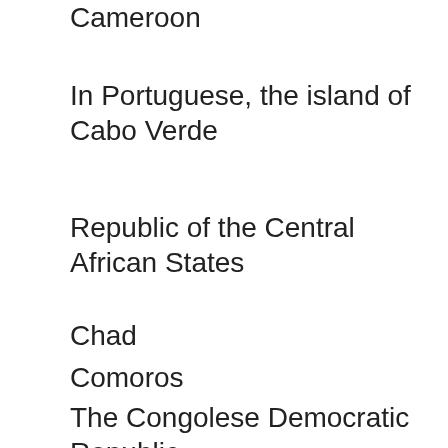Cameroon
In Portuguese, the island of Cabo Verde
Republic of the Central African States
Chad
Comoros
The Congolese Democratic Republic